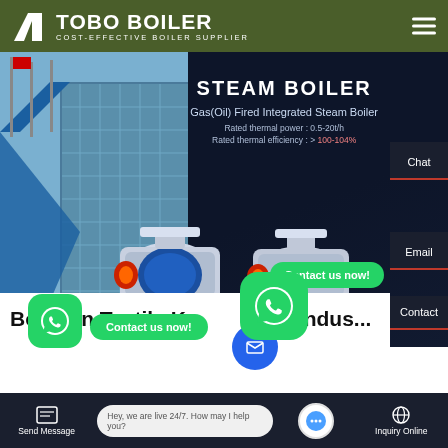TOBO BOILER — COST-EFFECTIVE BOILER SUPPLIER
[Figure (screenshot): Hero banner showing steam boilers with building background and product specifications: STEAM BOILER, Gas(Oil) Fired Integrated Steam Boiler, Rated thermal power: 0.5-20t/h, Rated thermal efficiency: >100-104%]
STEAM BOILER
Gas(Oil) Fired Integrated Steam Boiler
Rated thermal power : 0.5-20t/h
Rated thermal efficiency : > 100-104%
Chat
Email
Contact
Boiler In Textile Knitting Site Indus...
Contact us now!
Contact us now!
Hey, we are live 24/7. How may I help you?
Send Message
Inquiry Online